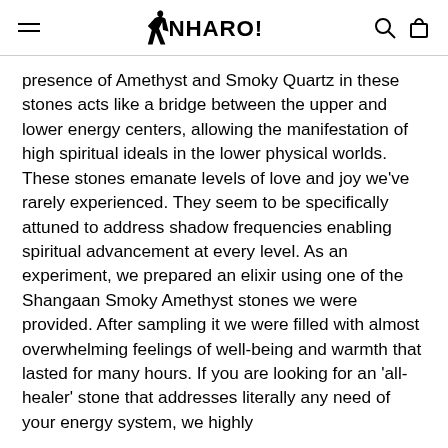NHARO!
presence of Amethyst and Smoky Quartz in these stones acts like a bridge between the upper and lower energy centers, allowing the manifestation of high spiritual ideals in the lower physical worlds. These stones emanate levels of love and joy we've rarely experienced. They seem to be specifically attuned to address shadow frequencies enabling spiritual advancement at every level. As an experiment, we prepared an elixir using one of the Shangaan Smoky Amethyst stones we were provided. After sampling it we were filled with almost overwhelming feelings of well-being and warmth that lasted for many hours. If you are looking for an 'all-healer' stone that addresses literally any need of your energy system, we highly